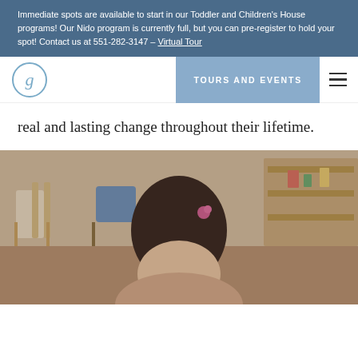Immediate spots are available to start in our Toddler and Children's House programs! Our Nido program is currently full, but you can pre-register to hold your spot! Contact us at 551-282-3147 – Virtual Tour
[Figure (logo): Circular logo with script letter g, blue border]
TOURS AND EVENTS
real and lasting change throughout their lifetime.
[Figure (photo): Young girl with dark hair and pink hair tie looking down, in a Montessori classroom with wooden furniture and shelves in background]